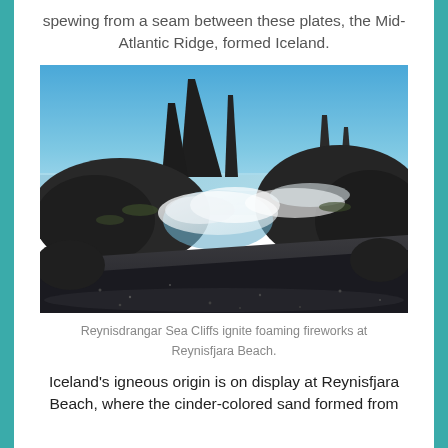spewing from a seam between these plates, the Mid-Atlantic Ridge, formed Iceland.
[Figure (photo): Reynisdrangar sea cliffs rising dramatically from black sand beach at Reynisfjara, Iceland, with crashing ocean waves and large dark volcanic rocks in the foreground under a clear blue sky.]
Reynisdrangar Sea Cliffs ignite foaming fireworks at Reynisfjara Beach.
Iceland's igneous origin is on display at Reynisfjara Beach, where the cinder-colored sand formed from